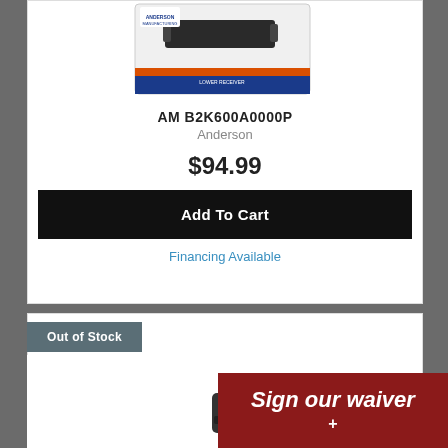[Figure (photo): Product image of AM B2K600A0000P Anderson firearm component in retail packaging]
AM B2K600A0000P
Anderson
$94.99
Add To Cart
Financing Available
Out of Stock
[Figure (photo): Small product image partially visible, second listing item]
Sign our waiver +